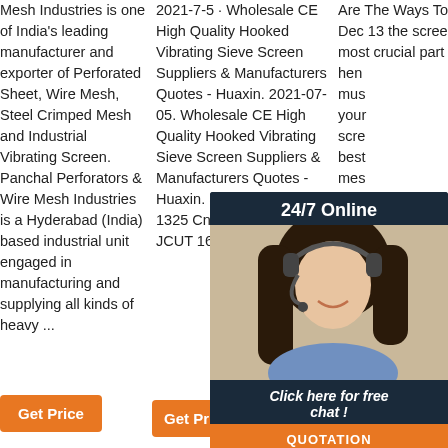Mesh Industries is one of India's leading manufacturer and exporter of Perforated Sheet, Wire Mesh, Steel Crimped Mesh and Industrial Vibrating Screen. Panchal Perforators & Wire Mesh Industries is a Hyderabad (India) based industrial unit engaged in manufacturing and supplying all kinds of heavy ...
2021-7-5 · Wholesale CE High Quality Hooked Vibrating Sieve Screen Suppliers & Manufacturers Quotes - Huaxin. 2021-07-05. Wholesale CE High Quality Hooked Vibrating Sieve Screen Suppliers & Manufacturers Quotes - Huaxin. Supply China Atc 1325 Cnc Router Factory - JCUT 168578. Menu.
Are The Ways To Choose Best. Dec 13 the screen mesh is the most crucial part of the vibra... hen... mus... your... scre... best... mes... scre... dete... durability of the equipment but also ...
[Figure (other): Live chat widget with woman wearing headset. Header: '24/7 Online'. Footer buttons: 'Click here for free chat!' and 'QUOTATION' in orange.]
[Figure (other): TOP button with orange dots and orange bold text 'TOP']
Get Price
Get Price
Get Price